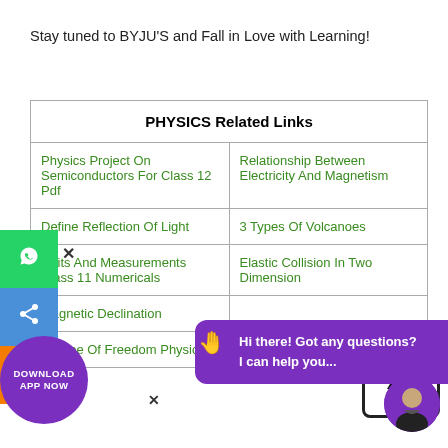Stay tuned to BYJU'S and Fall in Love with Learning!
| PHYSICS Related Links |
| --- |
| Physics Project On Semiconductors For Class 12 Pdf | Relationship Between Electricity And Magnetism |
| Define Reflection Of Light | 3 Types Of Volcanoes |
| Units And Measurements Class 11 Numericals | Elastic Collision In Two Dimension |
| Magnetic Declination |  |
| Degree Of Freedom Physics | Types Of Waves Physics |